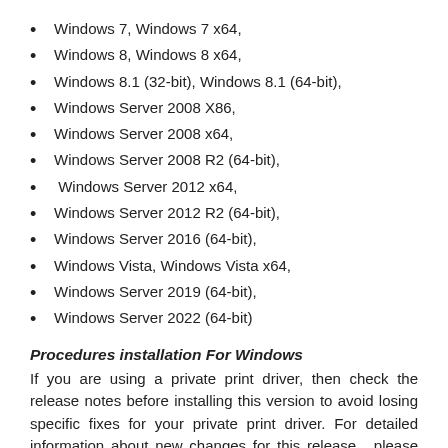Windows 7, Windows 7 x64,
Windows 8, Windows 8 x64,
Windows 8.1 (32-bit), Windows 8.1 (64-bit),
Windows Server 2008 X86,
Windows Server 2008 x64,
Windows Server 2008 R2 (64-bit),
Windows Server 2012 x64,
Windows Server 2012 R2 (64-bit),
Windows Server 2016 (64-bit),
Windows Vista, Windows Vista x64,
Windows Server 2019 (64-bit),
Windows Server 2022 (64-bit)
Procedures installation For Windows
If you are using a private print driver, then check the release notes before installing this version to avoid losing specific fixes for your private print driver. For detailed information about new changes for this release , please refer to Technical White Paper under